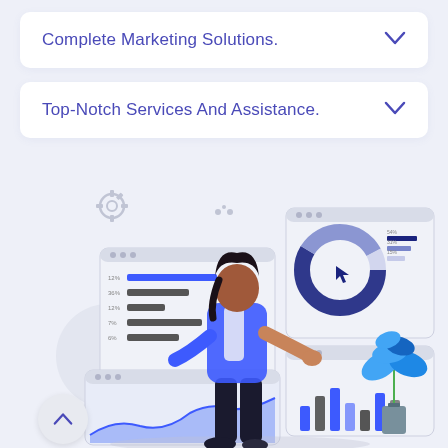Complete Marketing Solutions.
Top-Notch Services And Assistance.
[Figure (illustration): A woman in a blue jacket interacting with marketing analytics dashboards showing bar charts, a donut chart, and an area/line chart, with a potted plant nearby. Illustrative flat-design graphic depicting data analytics and marketing.]